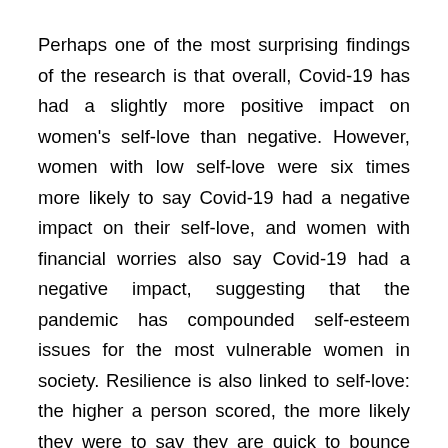Perhaps one of the most surprising findings of the research is that overall, Covid-19 has had a slightly more positive impact on women's self-love than negative. However, women with low self-love were six times more likely to say Covid-19 had a negative impact on their self-love, and women with financial worries also say Covid-19 had a negative impact, suggesting that the pandemic has compounded self-esteem issues for the most vulnerable women in society. Resilience is also linked to self-love: the higher a person scored, the more likely they were to say they are quick to bounce back from tough times.
One divisive issue when it comes to self-love is social media. Heavy users of social media are twice as likely